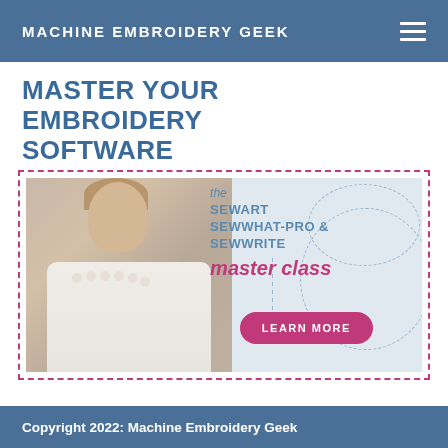MACHINE EMBROIDERY GEEK
MASTER YOUR EMBROIDERY SOFTWARE
[Figure (illustration): Promotional banner with a woman looking at a laptop and text reading 'the SEWART SEWWHAT-PRO & SEWWRITE master class' with a pink 'LEARN MORE' button, surrounded by a pink dashed border.]
Copyright 2022: Machine Embroidery Geek